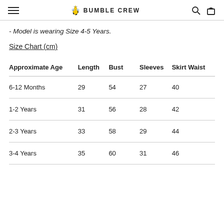BUMBLE CREW
- Model is wearing Size 4-5 Years.
Size Chart (cm)
| Approximate Age | Length | Bust | Sleeves | Skirt Waist |
| --- | --- | --- | --- | --- |
| 6-12 Months | 29 | 54 | 27 | 40 |
| 1-2 Years | 31 | 56 | 28 | 42 |
| 2-3 Years | 33 | 58 | 29 | 44 |
| 3-4 Years | 35 | 60 | 31 | 46 |